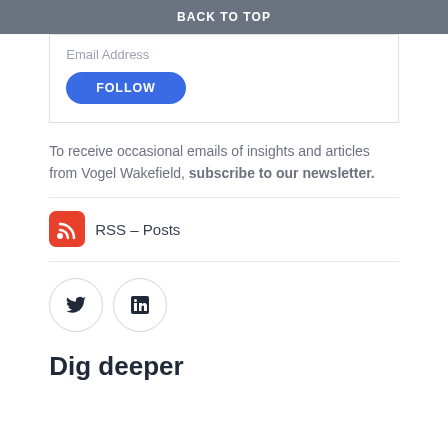BACK TO TOP
[Figure (screenshot): Email Address input field partially visible, with a blue rounded FOLLOW button below it, inside a bordered box]
To receive occasional emails of insights and articles from Vogel Wakefield, subscribe to our newsletter.
[Figure (logo): RSS icon (red square with white RSS symbol) followed by text 'RSS – Posts']
[Figure (logo): Two social media icon circles: Twitter bird icon and LinkedIn 'in' icon]
Dig deeper